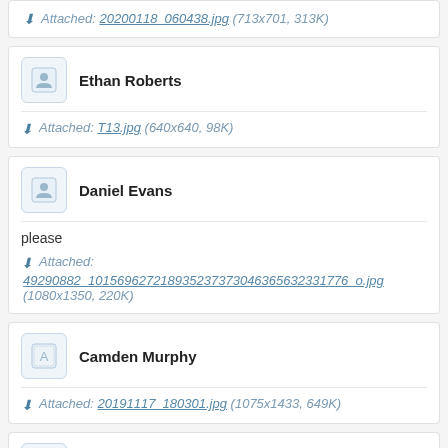Attached: 20200118_060438.jpg (713x701, 313K)
Ethan Roberts
Attached: T13.jpg (640x640, 98K)
Daniel Evans
please
Attached: 49290882_101569627218935237737304636563233177 6_o.jpg (1080x1350, 220K)
Camden Murphy
Attached: 20191117_180301.jpg (1075x1433, 649K)
Robert Hall